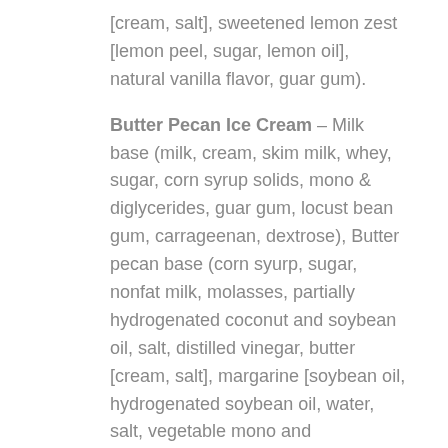[cream, salt], sweetened lemon zest [lemon peel, sugar, lemon oil], natural vanilla flavor, guar gum).
Butter Pecan Ice Cream – Milk base (milk, cream, skim milk, whey, sugar, corn syrup solids, mono & diglycerides, guar gum, locust bean gum, carrageenan, dextrose), Butter pecan base (corn syurp, sugar, nonfat milk, molasses, partially hydrogenated coconut and soybean oil, salt, distilled vinegar, butter [cream, salt], margarine [soybean oil, hydrogenated soybean oil, water, salt, vegetable mono and diglycerides, soy lecithin, natural flavor, annatto for color], propylene glycol alginate, sodium benzoate as preservative, natural flavor, soy lecithin as emulsifier), Pecans.
Cappuccino Chunk Ice Cream – Milk base (milk, cream, skim milk, whey, sugar, corn syrup solids, mono & diglycerides, guar gum, locust bean gum, carrageenan, dextrose), Semi-sweet chocolate (sugar,